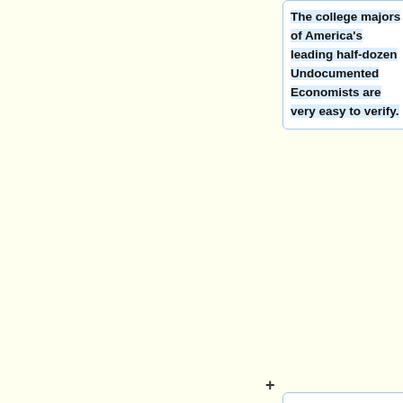The college majors of America's leading half-dozen Undocumented Economists are very easy to verify.
+
+
Or is it the consensus of real economists, that the economic impact of immigration isn't at all negative as Undocumented Economists insist, that you dispute?